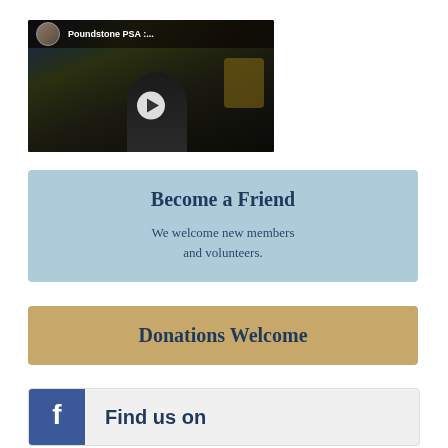[Figure (screenshot): Video thumbnail showing 'Poundstone PSA :...' with a play button overlay and dark scene background]
Become a Friend
We welcome new members and volunteers.
Donations Welcome
Find us on